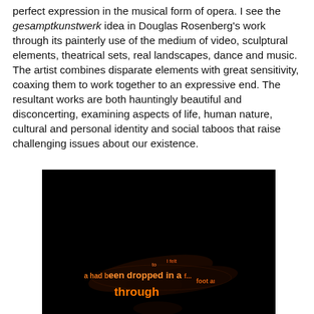perfect expression in the musical form of opera. I see the gesamptkunstwerk idea in Douglas Rosenberg's work through its painterly use of the medium of video, sculptural elements, theatrical sets, real landscapes, dance and music. The artist combines disparate elements with great sensitivity, coaxing them to work together to an expressive end. The resultant works are both hauntingly beautiful and disconcerting, examining aspects of life, human nature, cultural and personal identity and social taboos that raise challenging issues about our existence.
[Figure (photo): Dark photograph showing a human figure or body against a black background with orange glowing text projected onto it, reading 'had been dropped in a ... foot a... through']